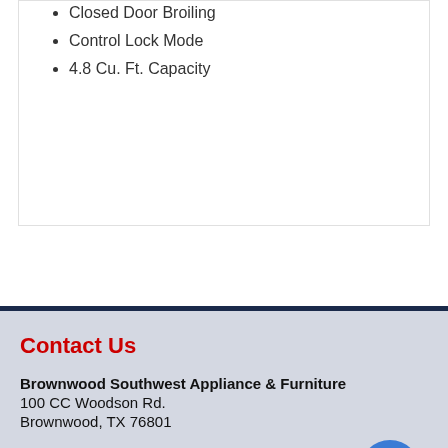Closed Door Broiling
Control Lock Mode
4.8 Cu. Ft. Capacity
Contact Us
Brownwood Southwest Appliance & Furniture
100 CC Woodson Rd.
Brownwood, TX 76801
(325) 646-8773
(325) 646-0945